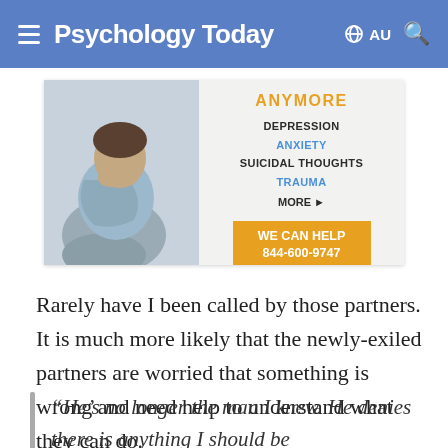Psychology Today — AU
[Figure (infographic): Advertisement banner for Solara Mental Health showing a man in distress with text: ANYMORE, DEPRESSION, ANXIETY, SUICIDAL THOUGHTS, TRAUMA, MORE, WE CAN HELP 844-600-9747, www.SolaraMentalHealth.com]
Rarely have I been called by those partners. It is much more likely that the newly-exiled partners are worried that something is wrong and need help to understand what they can do.
“He’s no longer the man I knew. He denies there is anything I should be